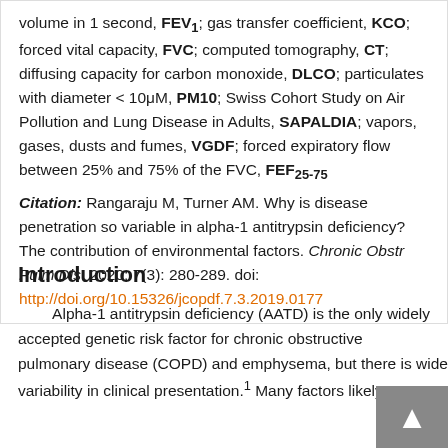volume in 1 second, FEV₁; gas transfer coefficient, KCO; forced vital capacity, FVC; computed tomography, CT; diffusing capacity for carbon monoxide, DLCO; particulates with diameter < 10μM, PM10; Swiss Cohort Study on Air Pollution and Lung Disease in Adults, SAPALDIA; vapors, gases, dusts and fumes, VGDF; forced expiratory flow between 25% and 75% of the FVC, FEF₂₅₋₇₅
Citation: Rangaraju M, Turner AM. Why is disease penetration so variable in alpha-1 antitrypsin deficiency? The contribution of environmental factors. Chronic Obstr Pulm Dis. 2020; 7(3): 280-289. doi: http://doi.org/10.15326/jcopdf.7.3.2019.0177
Introduction
Alpha-1 antitrypsin deficiency (AATD) is the only widely accepted genetic risk factor for chronic obstructive pulmonary disease (COPD) and emphysema, but there is wide variability in clinical presentation.¹ Many factors likely